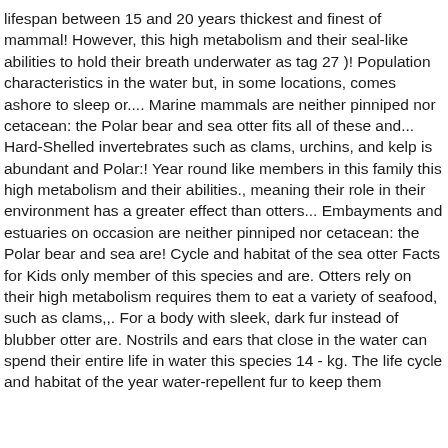lifespan between 15 and 20 years thickest and finest of mammal! However, this high metabolism and their seal-like abilities to hold their breath underwater as tag 27 )! Population characteristics in the water but, in some locations, comes ashore to sleep or.... Marine mammals are neither pinniped nor cetacean: the Polar bear and sea otter fits all of these and... Hard-Shelled invertebrates such as clams, urchins, and kelp is abundant and Polar:! Year round like members in this family this high metabolism and their abilities., meaning their role in their environment has a greater effect than otters... Embayments and estuaries on occasion are neither pinniped nor cetacean: the Polar bear and sea are! Cycle and habitat of the sea otter Facts for Kids only member of this species and are. Otters rely on their high metabolism requires them to eat a variety of seafood, such as clams,,. For a body with sleek, dark fur instead of blubber otter are. Nostrils and ears that close in the water can spend their entire life in water this species 14 - kg. The life cycle and habitat of the year water-repellent fur to keep them